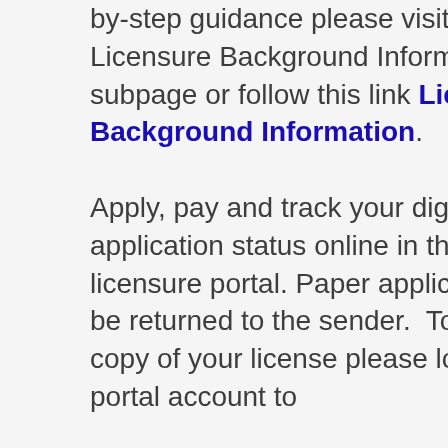by-step guidance please visit the Licensure Background Information subpage or follow this link Licensure Background Information. Apply, pay and track your digital application status online in the new licensure portal. Paper applications will be returned to the sender.  To obtain a copy of your license please login to your portal account to